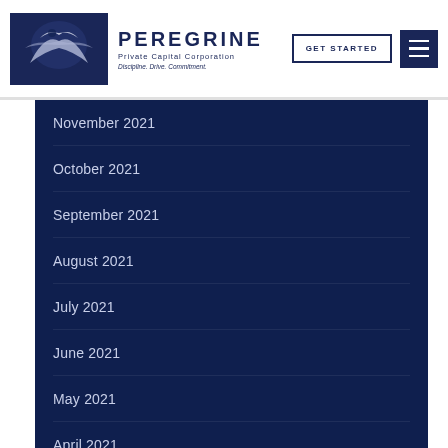PEREGRINE Private Capital Corporation — Discipline. Drive. Commitment.
November 2021
October 2021
September 2021
August 2021
July 2021
June 2021
May 2021
April 2021
March 2021
February 2021
January 2021